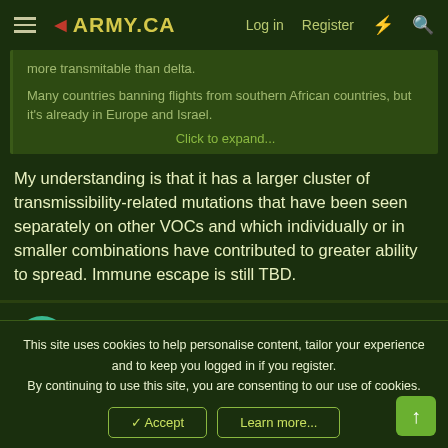ARMY.CA — Log in | Register
more transmitable than delta.

Many countries banning flights from southern African countries, but it's already in Europe and Israel.

Click to expand...
My understanding is that it has a larger cluster of transmissibility-related mutations that have been seen separately on other VOCs and which individually or in smaller combinations have contributed to greater ability to spread. Immune escape is still TBD.
Kilted
Sr. Member
This site uses cookies to help personalise content, tailor your experience and to keep you logged in if you register.
By continuing to use this site, you are consenting to our use of cookies.
✓ Accept  Learn more...